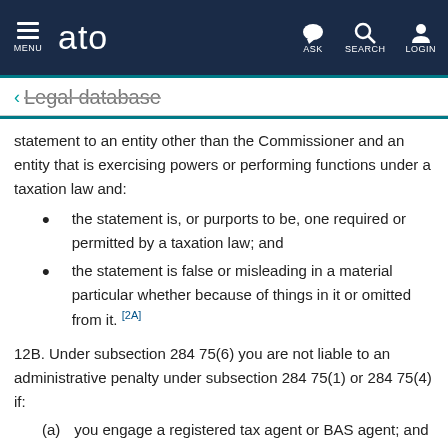ATO - MENU | ASK | SEARCH | LOGIN
Legal database
statement to an entity other than the Commissioner and an entity that is exercising powers or performing functions under a taxation law and:
the statement is, or purports to be, one required or permitted by a taxation law; and
the statement is false or misleading in a material particular whether because of things in it or omitted from it. [2A]
12B. Under subsection 284 75(6) you are not liable to an administrative penalty under subsection 284 75(1) or 284 75(4) if:
(a)
you engage a registered tax agent or BAS agent; and